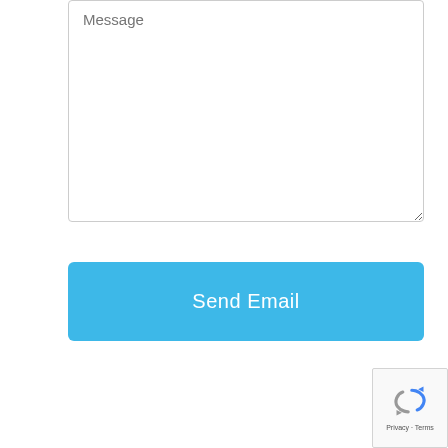[Figure (screenshot): Text area input field with placeholder text 'Message']
Send Email
[Figure (other): reCAPTCHA widget showing a recaptcha icon and 'Privacy - Terms' text]